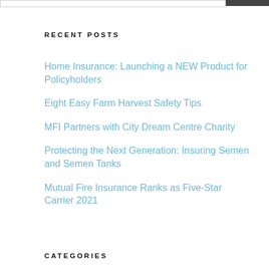RECENT POSTS
Home Insurance: Launching a NEW Product for Policyholders
Eight Easy Farm Harvest Safety Tips
MFI Partners with City Dream Centre Charity
Protecting the Next Generation: Insuring Semen and Semen Tanks
Mutual Fire Insurance Ranks as Five-Star Carrier 2021
CATEGORIES